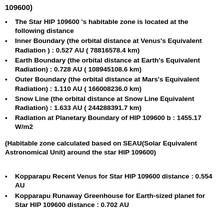109600)
The Star HIP 109600 's habitable zone is located at the following distance
Inner Boundary (the orbital distance at Venus's Equivalent Radiation ) : 0.527 AU ( 78816578.4 km)
Earth Boundary (the orbital distance at Earth's Equivalent Radiation) : 0.728 AU ( 108945108.6 km)
Outer Boundary (the orbital distance at Mars's Equivalent Radiation) : 1.110 AU ( 166008236.0 km)
Snow Line (the orbital distance at Snow Line Equivalent Radiation) : 1.633 AU ( 244288391.7 km)
Radiation at Planetary Boundary of HIP 109600 b : 1455.17 W/m2
(Habitable zone calculated based on SEAU(Solar Equivalent Astronomical Unit) around the star HIP 109600)
Kopparapu Recent Venus for Star HIP 109600 distance : 0.554 AU
Kopparapu Runaway Greenhouse for Earth-sized planet for Star HIP 109600 distance : 0.702 AU